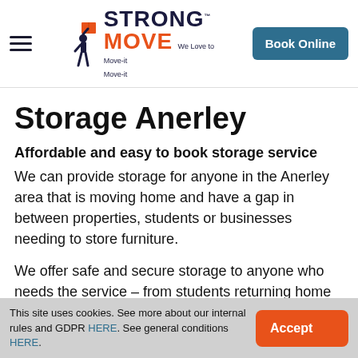Strong Move – We Love to Move-it Move-it
Storage Anerley
Affordable and easy to book storage service
We can provide storage for anyone in the Anerley area that is moving home and have a gap in between properties, students or businesses needing to store furniture.
We offer safe and secure storage to anyone who needs the service – from students returning home to businesses moving offices.
This site uses cookies. See more about our internal rules and GDPR HERE. See general conditions HERE.